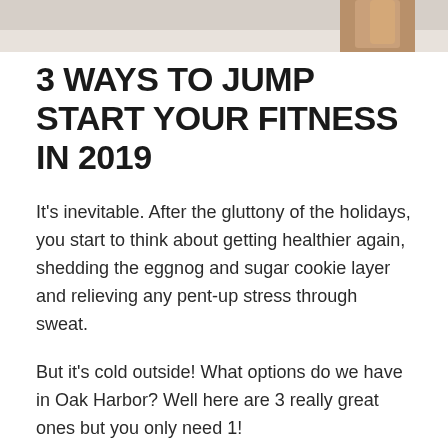[Figure (photo): Partial photo strip at top showing what appears to be a person's arm against a light background]
3 WAYS TO JUMP START YOUR FITNESS IN 2019
It's inevitable. After the gluttony of the holidays, you start to think about getting healthier again, shedding the eggnog and sugar cookie layer and relieving any pent-up stress through sweat.
But it's cold outside! What options do we have in Oak Harbor? Well here are 3 really great ones but you only need 1!
#1 Thrive Fitness